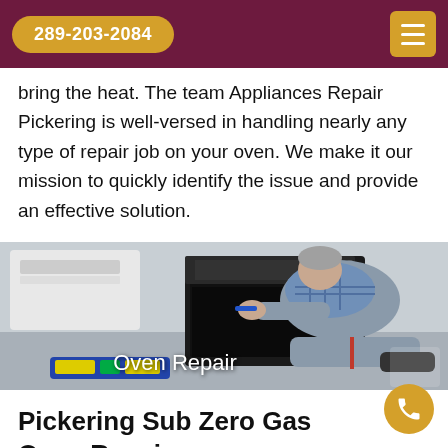289-203-2084
bring the heat. The team Appliances Repair Pickering is well-versed in handling nearly any type of repair job on your oven. We make it our mission to quickly identify the issue and provide an effective solution.
[Figure (photo): A technician in grey work clothes kneeling on the floor, using a tool to repair an open black oven. A toolbox is visible in the foreground. Text overlay reads 'Oven Repair'.]
Oven Repair
Pickering Sub Zero Gas Oven Repair